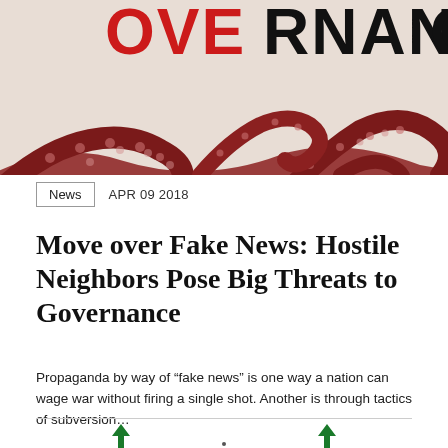[Figure (illustration): Magazine cover image showing red octopus tentacles on a light background with the word GOVERNANCE partially visible in bold black and red letters at the top]
News   APR 09 2018
Move over Fake News: Hostile Neighbors Pose Big Threats to Governance
Propaganda by way of “fake news” is one way a nation can wage war without firing a single shot. Another is through tactics of subversion…
[Figure (logo): Two small green tree/plant logos at the bottom of the page]